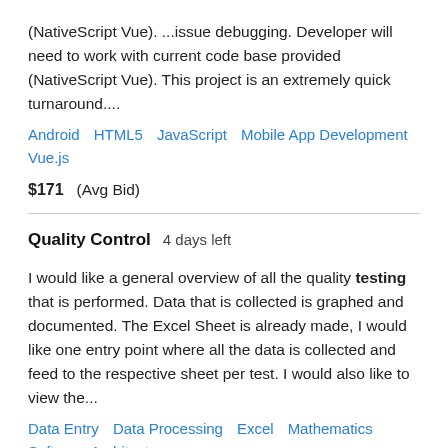(NativeScript Vue). ...issue debugging. Developer will need to work with current code base provided (NativeScript Vue). This project is an extremely quick turnaround....
Android   HTML5   JavaScript   Mobile App Development   Vue.js
$171   (Avg Bid)
Quality Control   4 days left
I would like a general overview of all the quality testing that is performed. Data that is collected is graphed and documented. The Excel Sheet is already made, I would like one entry point where all the data is collected and feed to the respective sheet per test. I would also like to view the...
Data Entry   Data Processing   Excel   Mathematics   Software Architecture
$389   (Avg Bid)